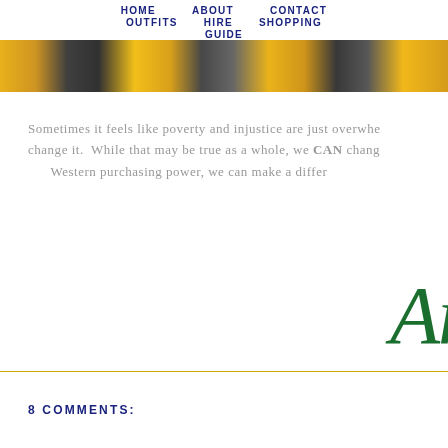HOME   ABOUT   CONTACT
OUTFITS   HIRE   SHOPPING
GUIDE
[Figure (photo): Hero banner image with yellow/black patterned fabric or textiles, partially visible at top of page]
Sometimes it feels like poverty and injustice are just overwhe change it.  While that may be true as a whole, we CAN chang Western purchasing power, we can make a differ
[Figure (illustration): Cursive signature reading 'Amanda' in dark green script]
8 COMMENTS: